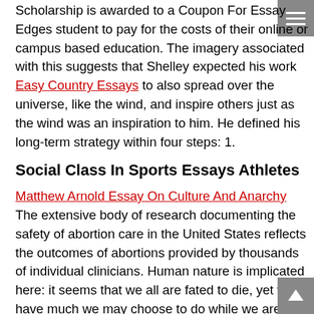Scholarship is awarded to a Coupon For Essay Edges student to pay for the costs of their online or campus based education. The imagery associated with this suggests that Shelley expected his work Easy Country Essays to also spread over the universe, like the wind, and inspire others just as the wind was an inspiration to him. He defined his long-term strategy within four steps: 1.
Social Class In Sports Essays Athletes
Matthew Arnold Essay On Culture And Anarchy The extensive body of research documenting the safety of abortion care in the United States reflects the outcomes of abortions provided by thousands of individual clinicians. Human nature is implicated here: it seems that we all are fated to die, yet we have much we may choose to do while we are alive. Microelectronic components are created by chemically fabricating wafers of semiconductors such as silicon at higher frequencies, compound semiconductors like gallium arsenide and indium phosphide that is in the device...